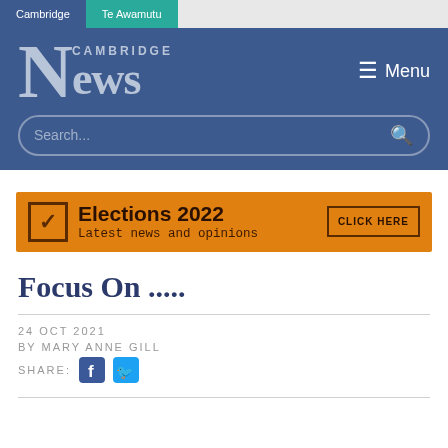Cambridge | Te Awamutu
[Figure (logo): Cambridge News logo with large stylized N and text 'CAMBRIDGE News']
[Figure (screenshot): Elections 2022 - Latest news and opinions - CLICK HERE ad banner]
Focus On .....
24 OCT 2021
BY MARY ANNE GILL
SHARE: